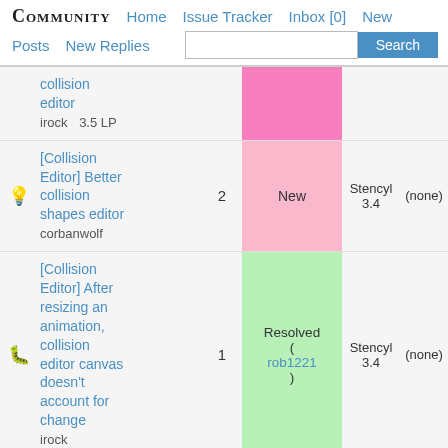Community  Home  Issue Tracker  Inbox [0]  New  Posts  New Replies  Search
collision editor irock 3.5 LP
[Collision Editor] Better collision shapes editor corbanwolf  2  New  Stencyl 3.4  (none)
[Collision Editor] After resizing an animation, collision editor canvas doesn't account for change irock  1  Resolved (rob1221)  Stencyl 3.4  (none)
[Collision Editor] Can't select